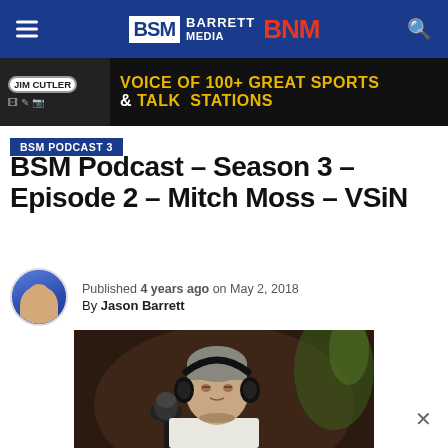BSM BARRETT MEDIA BNM
[Figure (photo): Advertisement banner for Jim Cutler voice-over artist: VOICE OF 100+ GREAT SPORTS & TALK STATIONS]
BSM PODCAST 3
BSM Podcast – Season 3 – Episode 2 – Mitch Moss – VSiN
Published 4 years ago on May 2, 2018 By Jason Barrett
[Figure (photo): Man wearing headphones speaking into a microphone in a podcast studio setting]